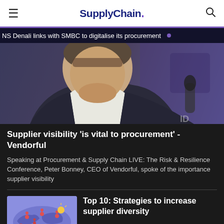SupplyChain.
NS Denali links with SMBC to digitalise its procurement
[Figure (photo): Close-up photo of a man in a dark blazer and white shirt, partially cropped, with a blurred purple/blue conference background.]
Supplier visibility 'is vital to procurement' - Vendorful
Speaking at Procurement & Supply Chain LIVE: The Risk & Resilience Conference, Peter Bonney, CEO of Vendorful, spoke of the importance supplier visibility
[Figure (illustration): Illustration of a purple/blue world map with location pins and small character figures, representing global supply chain diversity.]
Top 10: Strategies to increase supplier diversity